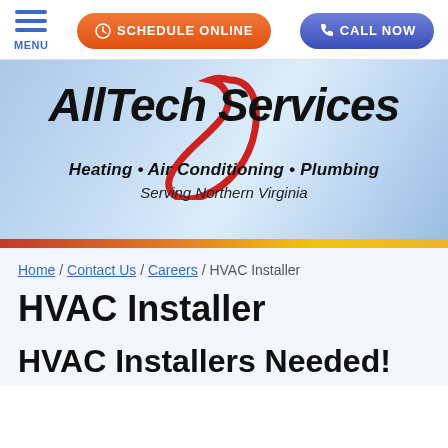[Figure (screenshot): Navigation bar with hamburger menu icon labeled MENU, orange Schedule Online button, and blue Call Now button]
[Figure (logo): AllTech Services logo with red swoosh, company name in bold italic, tagline Heating • Air Conditioning • Plumbing, Serving Northern Virginia, on a blue gradient background with red/orange gradient bar at bottom]
Home / Contact Us / Careers / HVAC Installer
HVAC Installer
HVAC Installers Needed!